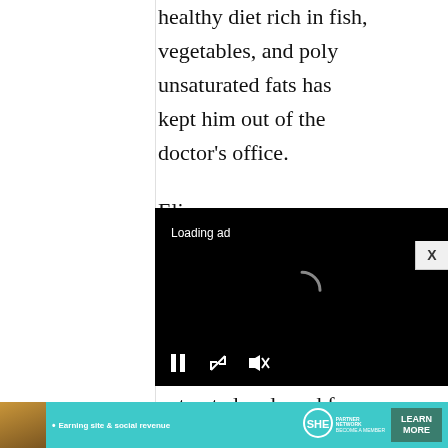healthy diet rich in fish, vegetables, and poly unsaturated fats has kept him out of the doctor's office.
Elise
[Figure (screenshot): Video ad player with black background showing 'Loading ad' text, a spinning loader icon, and playback controls (pause, fullscreen, mute) at the bottom.]
extracted and used for
[Figure (infographic): SHE Partner Network advertisement banner with teal background, a woman's photo on the left, bullet text 'Earning site & social revenue', SHE logo, and a 'LEARN MORE' button.]